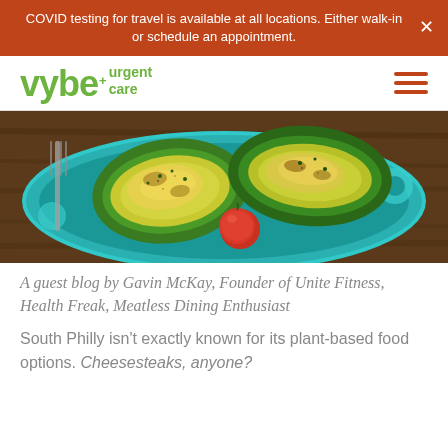COVID testing for travel is available at all locations. Either walk-in or schedule an appointment.
[Figure (logo): vybe urgent care logo in green with hamburger menu icon in red-brown on the right]
[Figure (photo): Close-up photo of grilled or baked zucchini halves with tomatoes on a colorful turquoise decorative plate on a wooden surface]
A guest blog by Gavin McKay, Founder of Unite Fitness, Health Freak, Meatless Dining Enthusiast
South Philly isn’t exactly known for its plant-based food options. Cheesesteaks, anyone?